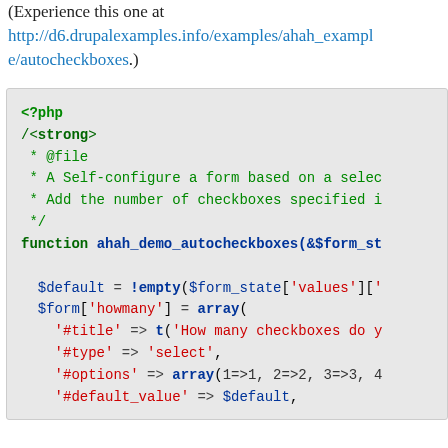(Experience this one at http://d6.drupalexamples.info/examples/ahah_example/autocheckboxes.)
[Figure (screenshot): PHP code snippet showing syntax-highlighted code for a Drupal AHAH autocheckboxes form function, including <?php tag, docblock comment, function declaration, and form array construction.]